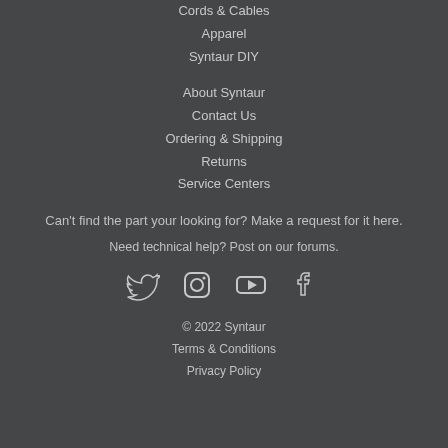Cords & Cables
Apparel
Syntaur DIY
About Syntaur
Contact Us
Ordering & Shipping
Returns
Service Centers
Can't find the part your looking for? Make a request for it here.
Need technical help? Post on our forums.
[Figure (other): Social media icons row: Twitter, Instagram, YouTube, Facebook]
© 2022 Syntaur
Terms & Conditions
Privacy Policy